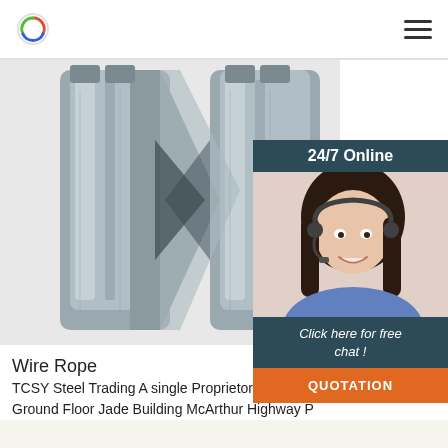[Figure (photo): Close-up photo of metallic wire rope clamps/cable clips made of galvanized steel, showing two U-bolt saddle clamps overlapping in a V shape against white background]
[Figure (photo): 24/7 Online support panel with dark teal header reading '24/7 Online', photo of female customer service agent with headset smiling, dark teal footer reading 'Click here for free chat!' and orange button labeled 'QUOTATION']
Wire Rope
TCSY Steel Trading A single Proprietorship. Located at Ground Floor Jade Building McArthur Highway P... City. Our company offer high quality industrial s... Wire Rope, Thimble, Ferrule, Master Link, Shackl... Chain Block, Lever Block, Lifting Chain, Hooks, Co... Turnbuckles, Snatch Block, Wooden Block, Cable... Steel, Webbing ...
[Figure (other): Green 'Get Price' button]
[Figure (other): Gray circular scroll-to-top arrow button]